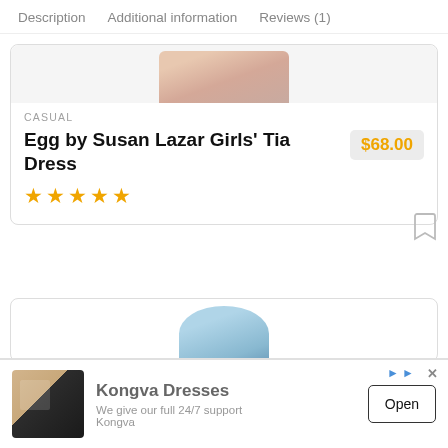Description   Additional information   Reviews (1)
CASUAL
Egg by Susan Lazar Girls' Tia Dress
$68.00
★★★★★
[Figure (screenshot): Partial product image at top of card]
[Figure (screenshot): Partial second product card with blue item image]
We use cookies on our website to give you the most relevant experience by remembering your preferences and repeat visits. By clicking "Accept", consent to the use of ALL the cookies.
[Figure (infographic): Advertisement banner for Kongva Dresses with shirt image and Open button]
Kongva Dresses
We give our full 24/7 support
Kongva